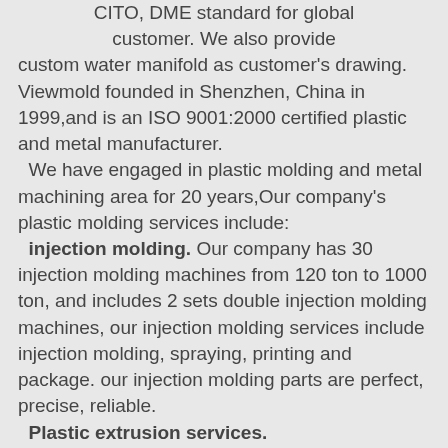CITO, DME standard for global customer. We also provide custom water manifold as customer's drawing. Viewmold founded in Shenzhen, China in 1999,and is an ISO 9001:2000 certified plastic and metal manufacturer.
  We have engaged in plastic molding and metal machining area for 20 years,Our company's plastic molding services include:
  injection molding. Our company has 30 injection molding machines from 120 ton to 1000 ton, and includes 2 sets double injection molding machines, our injection molding services include injection molding, spraying, printing and package. our injection molding parts are perfect, precise, reliable.
  Plastic extrusion services.
  Our metal machining services include:
  custom metal parts fabrication. Our company provides custom metal parts fabrication services.
  CNC machining service. Our company provides highly precise metal machining services that includes CNC, wire EDM, polishing.. If you need highly precise components, are looking for a reliable machining